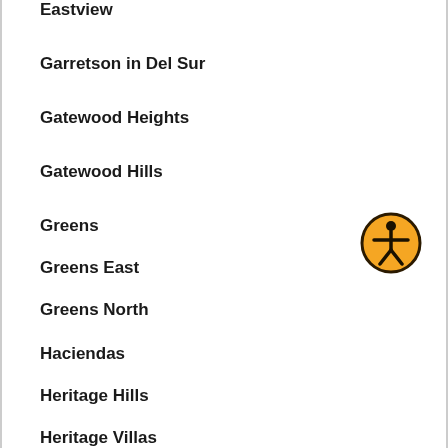Eastview
Garretson in Del Sur
Gatewood Heights
Gatewood Hills
Greens
Greens East
Greens North
Haciendas
Heritage Hills
Heritage Villas
High Country West
Hillsborough
[Figure (illustration): Accessibility icon: a circular yellow badge with black border containing a stick figure person with arms outstretched]